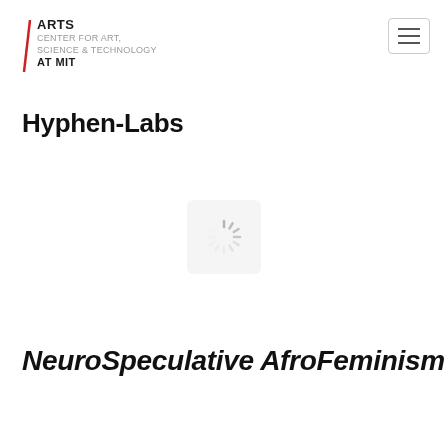ARTS CENTER FOR ART, SCIENCE & TECHNOLOGY AT MIT
Hyphen-Labs
[Figure (other): Loading spinner icon — a circular spinner graphic indicating content is loading, displayed inside a light gray rounded rectangle]
NeuroSpeculative AfroFeminism